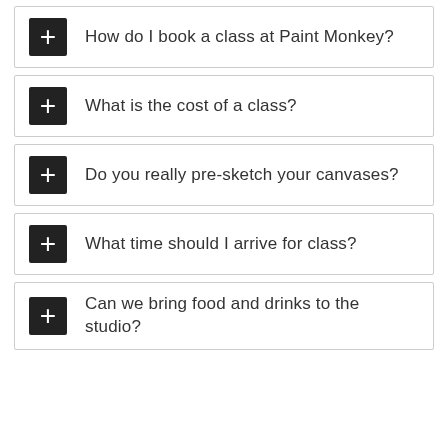How do I book a class at Paint Monkey?
What is the cost of a class?
Do you really pre-sketch your canvases?
What time should I arrive for class?
Can we bring food and drinks to the studio?